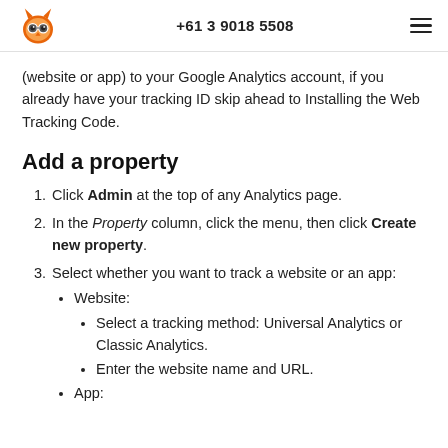+61 3 9018 5508
(website or app) to your Google Analytics account, if you already have your tracking ID skip ahead to Installing the Web Tracking Code.
Add a property
Click Admin at the top of any Analytics page.
In the Property column, click the menu, then click Create new property.
Select whether you want to track a website or an app:
Website:
Select a tracking method: Universal Analytics or Classic Analytics.
Enter the website name and URL.
App: